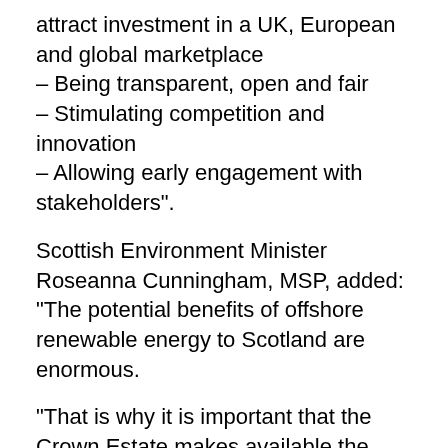attract investment in a UK, European and global marketplace – Being transparent, open and fair – Stimulating competition and innovation – Allowing early engagement with stakeholders".
Scottish Environment Minister Roseanna Cunningham, MSP, added: “The potential benefits of offshore renewable energy to Scotland are enormous.
“That is why it is important that the Crown Estate makes available the right seabed locations at the right time, in order to contribute to delivery of our energy strategy, attract inward investment, develop new technology